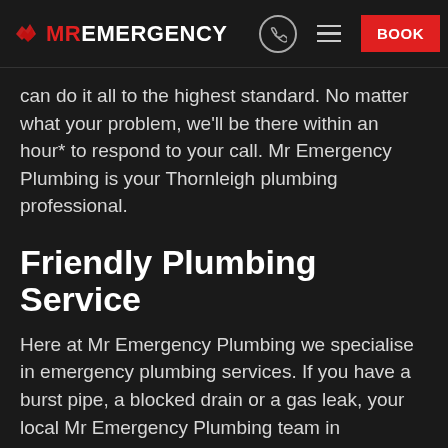MR EMERGENCY | BOOK
can do it all to the highest standard. No matter what your problem, we'll be there within an hour* to respond to your call. Mr Emergency Plumbing is your Thornleigh plumbing professional.
Friendly Plumbing Service
Here at Mr Emergency Plumbing we specialise in emergency plumbing services. If you have a burst pipe, a blocked drain or a gas leak, your local Mr Emergency Plumbing team in Thornleigh provides a 24 hour service, even on public holidays. We are prepared for all same day emergency plumbing services, and you can always expect a fast resolution to your plumbing disaster.